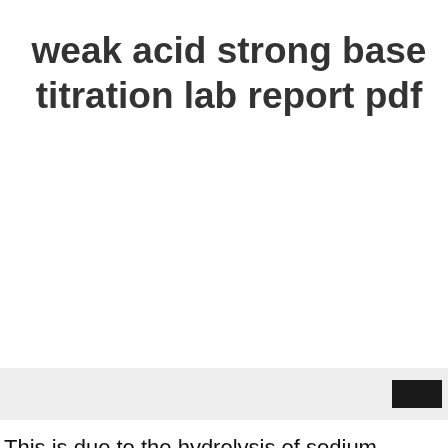weak acid strong base titration lab report pdf
This is due to the hydrolysis of sodium acetate formed. Most substances that are acidic in water are actually weak acids. In the case of titrating the acid into the base for a strong acid-weak base titration, the pH of the base will ordinarily start high and drop rapidly with the additions of acid. %◆◆◆◆ '◆nV]◆Y◆K◆ u◆.◆◆◆◆*◆◆Č◆◆P◆◆YĴ◆W' $\~o◆m◆L Phenolphthalein is not suitable for ALL acid-base